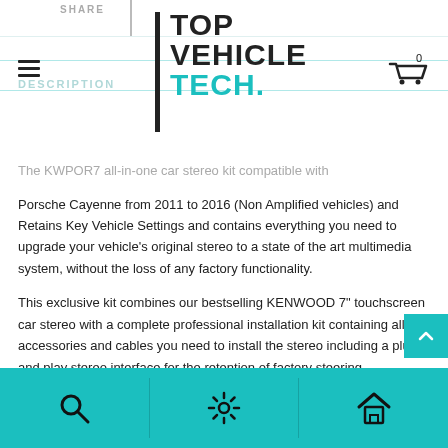SHARE
[Figure (logo): Top Vehicle Tech logo — vertical black bar with 'TOP VEHICLE' in black bold and 'TECH.' in teal bold text]
DESCRIPTION
The KWPOR7 all-in-one car stereo kit compatible with Porsche Cayenne from 2011 to 2016 (Non Amplified vehicles) and Retains Key Vehicle Settings and contains everything you need to upgrade your vehicle's original stereo to a state of the art multimedia system, without the loss of any factory functionality.
This exclusive kit combines our bestselling KENWOOD 7" touchscreen car stereo with a complete professional installation kit containing all the accessories and cables you need to install the stereo including a plug and play stereo interface for the retention of factory steering